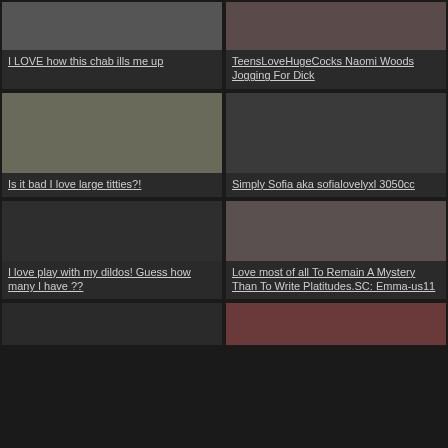I LOVE how this chab ills me up
TeensLoveHugeCocks Naomi Woods Jogging For Dick
[Figure (photo): Two women in bikinis outdoors]
Is it bad I love large titties?!
[Figure (photo): Dark placeholder image]
Simply Sofia aka sofialovelyxl 3050cc
I love play with my dildos! Guess how many I have ??
[Figure (photo): Person in pink top and grey sweatpants]
Love most of all To Remain A Mystery Than To Write Platitudes.SC: Emma-us11
[Figure (photo): Dark placeholder bottom left]
[Figure (photo): Person in red/pink outfit bottom right]